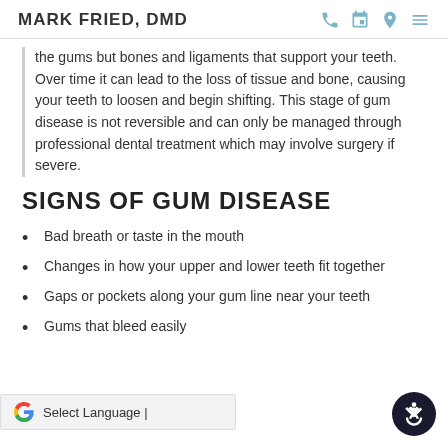MARK FRIED, DMD
the gums but bones and ligaments that support your teeth. Over time it can lead to the loss of tissue and bone, causing your teeth to loosen and begin shifting. This stage of gum disease is not reversible and can only be managed through professional dental treatment which may involve surgery if severe.
SIGNS OF GUM DISEASE
Bad breath or taste in the mouth
Changes in how your upper and lower teeth fit together
Gaps or pockets along your gum line near your teeth
Gums that bleed easily